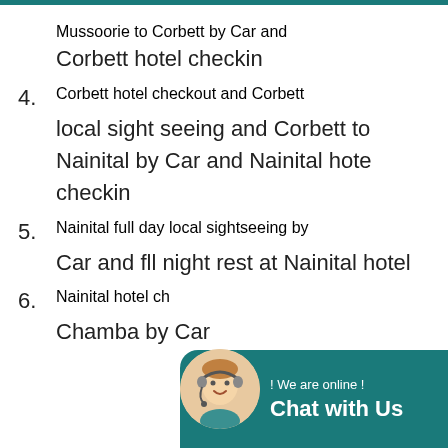Mussoorie to Corbett by Car and Corbett hotel checkin
4. Corbett hotel checkout and Corbett local sight seeing and Corbett to Nainital by Car and Nainital hote checkin
5. Nainital full day local sightseeing by Car and fll night rest at Nainital hotel
6. Nainital hotel ch... Chamba by Car...